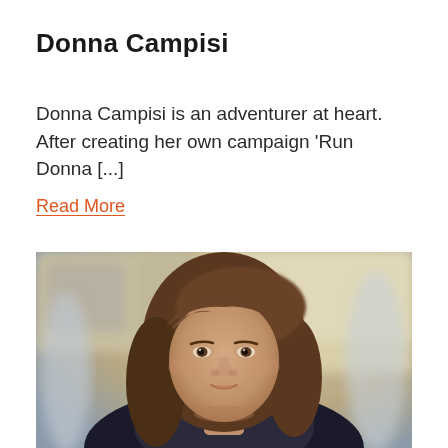Donna Campisi
Donna Campisi is an adventurer at heart. After creating her own campaign ‘Run Donna [...]
Read More
[Figure (photo): Portrait photo of a young woman with medium-length brown hair, slightly smiling, with a blurred outdoor background.]